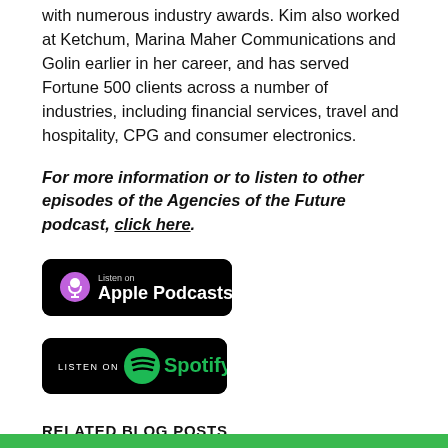with numerous industry awards. Kim also worked at Ketchum, Marina Maher Communications and Golin earlier in her career, and has served Fortune 500 clients across a number of industries, including financial services, travel and hospitality, CPG and consumer electronics.
For more information or to listen to other episodes of the Agencies of the Future podcast, click here.
[Figure (logo): Listen on Apple Podcasts badge — black rounded rectangle with Apple Podcasts logo and text]
[Figure (logo): Listen on Spotify badge — black rounded rectangle with Spotify logo and text]
RELATED BLOG POSTS